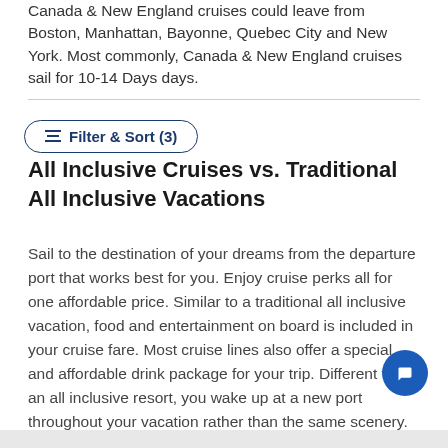Canada & New England cruises could leave from Boston, Manhattan, Bayonne, Quebec City and New York. Most commonly, Canada & New England cruises sail for 10-14 Days days.
Filter & Sort (3)
All Inclusive Cruises vs. Traditional All Inclusive Vacations
Sail to the destination of your dreams from the departure port that works best for you. Enjoy cruise perks all for one affordable price. Similar to a traditional all inclusive vacation, food and entertainment on board is included in your cruise fare. Most cruise lines also offer a special and affordable drink package for your trip. Different from an all inclusive resort, you wake up at a new port throughout your vacation rather than the same scenery.